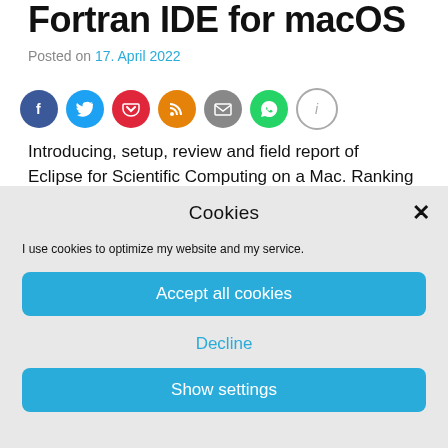Fortran IDE for macOS
Posted on 17. April 2022
[Figure (other): Row of social sharing icons: Facebook (blue), Twitter (light blue), Pocket (red), RSS (orange), Email (gray), WhatsApp (green), Info (white/gray outline)]
Introducing, setup, review and field report of Eclipse for Scientific Computing on a Mac. Ranking for usability for different target groups.
Cookies
I use cookies to optimize my website and my service.
Accept all cookies
Decline
Show settings